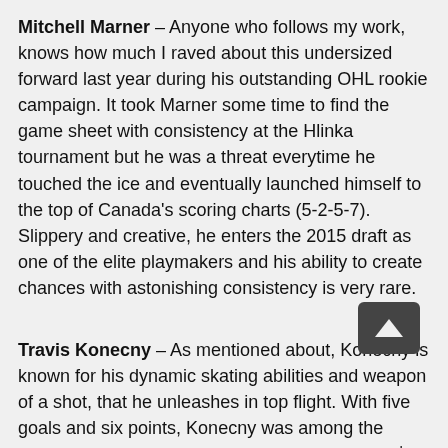Mitchell Marner – Anyone who follows my work, knows how much I raved about this undersized forward last year during his outstanding OHL rookie campaign. It took Marner some time to find the game sheet with consistency at the Hlinka tournament but he was a threat everytime he touched the ice and eventually launched himself to the top of Canada's scoring charts (5-2-5-7). Slippery and creative, he enters the 2015 draft as one of the elite playmakers and his ability to create chances with astonishing consistency is very rare.
Travis Konecny – As mentioned about, Konecny is known for his dynamic skating abilities and weapon of a shot, that he unleashes in top flight. With five goals and six points, Konecny was among the leading scorers and should challenge for the 2nd